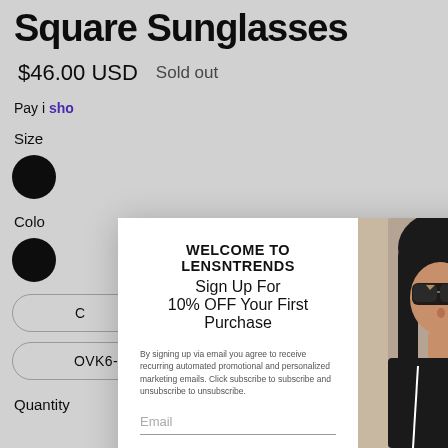Square Sunglasses
$46.00 USD    Sold out
Pay i... sho
Size
Colo
OVK6-White
Quantity
[Figure (screenshot): Popup modal: WELCOME TO LENSNTRENDS, Sign Up For 10% OFF Your First Purchase, email subscribe form, and a photo of a woman wearing square sunglasses. Close button (X) top right.]